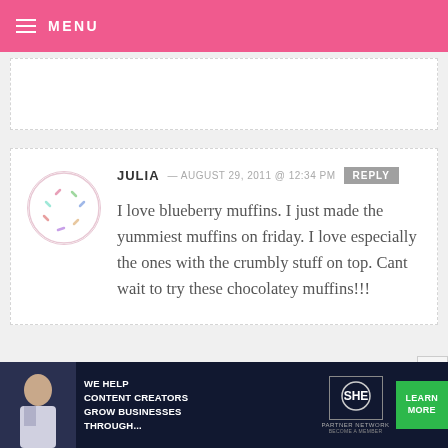MENU
I love blueberry muffins. I just made the yummiest muffins on friday. I love especially the ones with the crumbly stuff on top. Cant wait to try these chocolatey muffins!!!
JULIA — AUGUST 29, 2011 @ 12:34 PM REPLY
AMY JO
[Figure (infographic): SHE Partner Network advertisement banner at bottom of page with woman photo, text 'We help content creators grow businesses through...', SHE logo, and Learn More button]